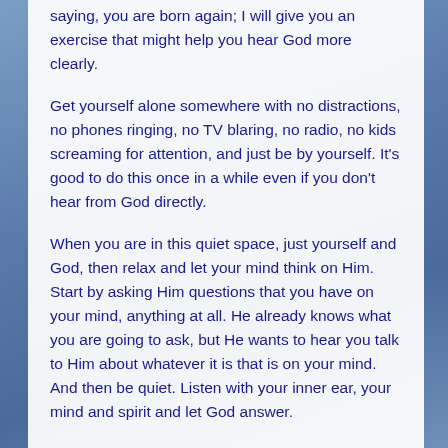saying, you are born again; I will give you an exercise that might help you hear God more clearly.
Get yourself alone somewhere with no distractions, no phones ringing, no TV blaring, no radio, no kids screaming for attention, and just be by yourself. It's good to do this once in a while even if you don't hear from God directly.
When you are in this quiet space, just yourself and God, then relax and let your mind think on Him. Start by asking Him questions that you have on your mind, anything at all. He already knows what you are going to ask, but He wants to hear you talk to Him about whatever it is that is on your mind. And then be quiet. Listen with your inner ear, your mind and spirit and let God answer.
Even as I write this, I try to open my mind and let God give me the words He wants me to put on the page. So you should open your heart and let God put His thoughts into your min